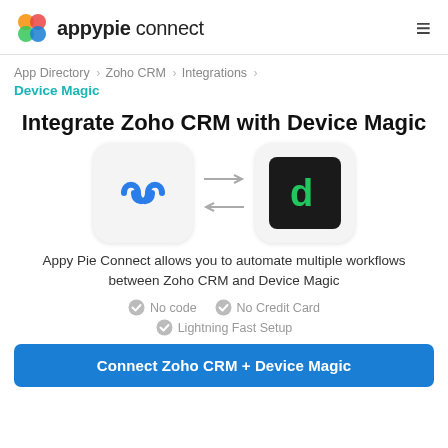appypie connect
App Directory > Zoho CRM > Integrations > Device Magic
Integrate Zoho CRM with Device Magic
[Figure (illustration): Two app icons (Zoho CRM blue chain link logo and Device Magic black/green 'd' logo) with bidirectional arrows between them]
Appy Pie Connect allows you to automate multiple workflows between Zoho CRM and Device Magic
No code
No Credit Card
Lightning Fast Setup
Connect Zoho CRM + Device Magic